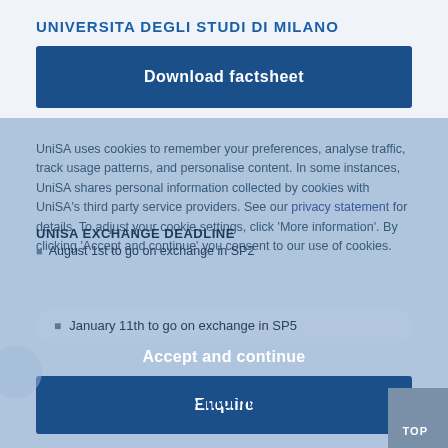UNIVERSITA DEGLI STUDI DI MILANO
Download factsheet
UniSA uses cookies to remember your preferences, analyse traffic, track usage patterns, and personalise content. In some instances, UniSA shares personal information collected by cookies with UniSA's third party service providers. See our privacy statement for details. To adjust your cookie settings, click 'More information'. By clicking 'Accept and continue' you consent to our use of cookies.
UNISA EXCHANGE DEADLINE
August 1st to go on exchange in SP2
January 11th to go on exchange in SP5
Accept and continue
Enquire
More information
TOP